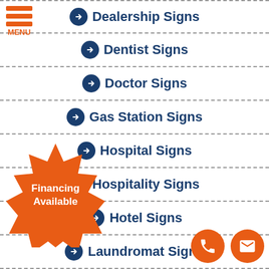[Figure (logo): Orange hamburger menu icon with three orange bars and 'MENU' text label below]
➔ Dealership Signs
➔ Dentist Signs
➔ Doctor Signs
➔ Gas Station Signs
➔ Hospital Signs
➔ Hospitality Signs
➔ Hotel Signs
➔ Laundromat Signs
[Figure (infographic): Orange starburst badge with white text 'Financing Available']
[Figure (infographic): Two orange circle buttons: phone icon and mail/envelope icon]